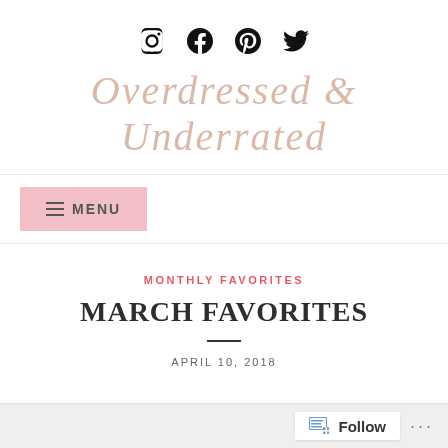Social icons: Instagram, Facebook, Pinterest, Twitter
Overdressed & Underrated
MENU
MONTHLY FAVORITES
MARCH FAVORITES
APRIL 10, 2018
Follow ...